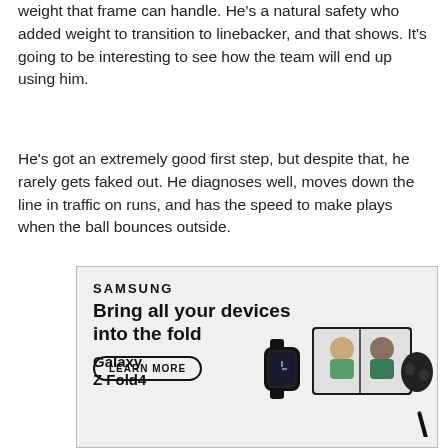weight that frame can handle. He's a natural safety who added weight to transition to linebacker, and that shows. It's going to be interesting to see how the team will end up using him.
He's got an extremely good first step, but despite that, he rarely gets faked out. He diagnoses well, moves down the line in traffic on runs, and has the speed to make plays when the ball bounces outside.
[Figure (infographic): Samsung advertisement for Galaxy Z Fold4. Shows Samsung logo, tagline 'Bring all your devices into the fold', a 'LEARN MORE' button, and images of Samsung devices including a smartwatch, Galaxy Z Fold4 phone, and earbuds. Bottom text partially visible.]